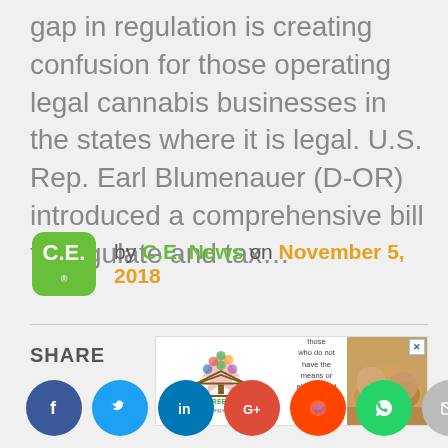gap in regulation is creating confusion for those operating legal cannabis businesses in the states where it is legal. U.S. Rep. Earl Blumenauer (D-OR) introduced a comprehensive bill to regulate and tax…
by C.E. News on November 5, 2018
[Figure (other): Advertisement banner for Giving Tree Housing with tree logo, text about providing quality housing solutions, and a photo of hands]
SHARE
[Figure (other): Social share buttons: Facebook, Twitter, LinkedIn, Google+, Reddit, WhatsApp, Email]